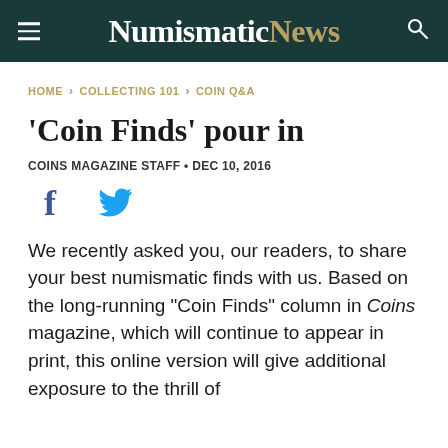NumismaticNews
HOME › COLLECTING 101 › COIN Q&A
'Coin Finds' pour in
COINS MAGAZINE STAFF • DEC 10, 2016
[Figure (other): Facebook and Twitter social share icons]
We recently asked you, our readers, to share your best numismatic finds with us. Based on the long-running "Coin Finds" column in Coins magazine, which will continue to appear in print, this online version will give additional exposure to the thrill of